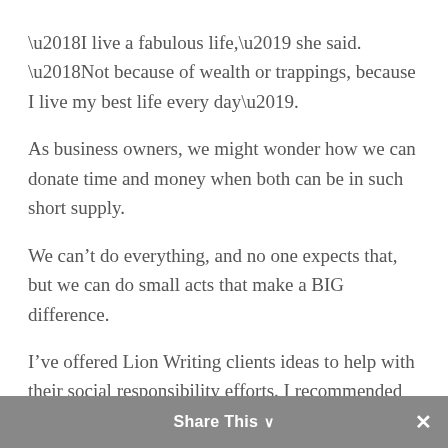‘I live a fabulous life,’ she said. ‘Not because of wealth or trappings, because I live my best life every day’.
As business owners, we might wonder how we can donate time and money when both can be in such short supply.
We can’t do everything, and no one expects that, but we can do small acts that make a BIG difference.
I’ve offered Lion Writing clients ideas to help with their social responsibility efforts. I recommended that my arborist client have a tree planted for every tree he cuts down or works on.
Share This